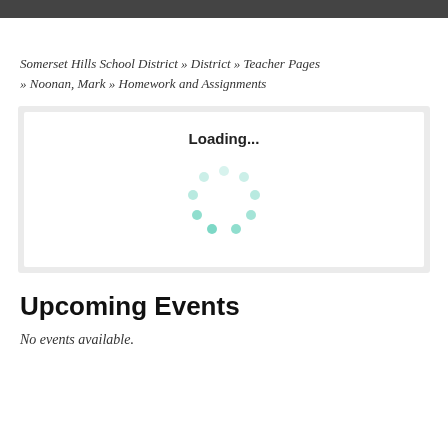Somerset Hills School District » District » Teacher Pages » Noonan, Mark » Homework and Assignments
[Figure (other): Loading spinner with 'Loading...' text and teal animated dots in a circular pattern inside a white box with light gray outer border]
Upcoming Events
No events available.